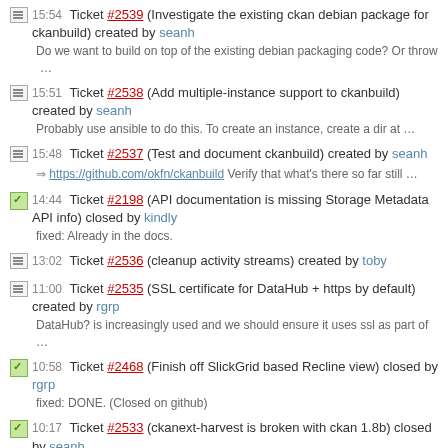15:54 Ticket #2539 (Investigate the existing ckan debian package for ckanbuild) created by seanh
Do we want to build on top of the existing debian packaging code? Or throw …
15:51 Ticket #2538 (Add multiple-instance support to ckanbuild) created by seanh
Probably use ansible to do this. To create an instance, create a dir at …
15:48 Ticket #2537 (Test and document ckanbuild) created by seanh
https://github.com/okfn/ckanbuild Verify that what's there so far still …
14:44 Ticket #2198 (API documentation is missing Storage Metadata API info) closed by kindly
fixed: Already in the docs.
13:02 Ticket #2536 (cleanup activity streams) created by toby
11:00 Ticket #2535 (SSL certificate for DataHub + https by default) created by rgrp
DataHub? is increasingly used and we should ensure it uses ssl as part of …
10:58 Ticket #2468 (Finish off SlickGrid based Recline view) closed by rgrp
fixed: DONE. (Closed on github)
10:17 Ticket #2533 (ckanext-harvest is broken with ckan 1.8b) closed by seanh
fixed